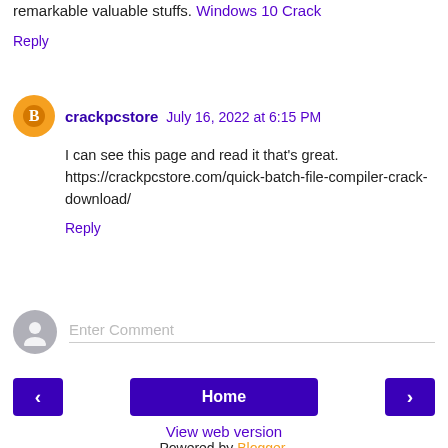remarkable valuable stuffs. Windows 10 Crack
Reply
crackpcstore  July 16, 2022 at 6:15 PM
I can see this page and read it that's great. https://crackpcstore.com/quick-batch-file-compiler-crack-download/
Reply
Enter Comment
Home
View web version
Powered by Blogger.